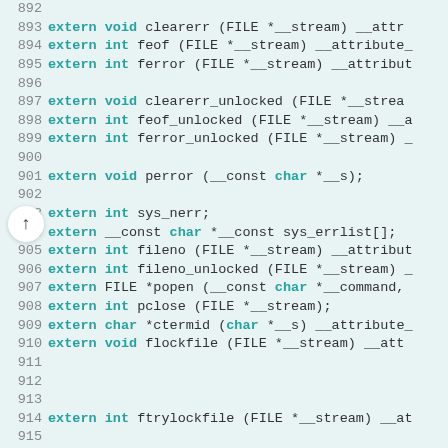[Figure (screenshot): Source code listing (C header file) showing lines 892-921 of a stdio.h or similar C library header, with syntax highlighting. Keywords 'extern', 'void', 'int', 'FILE', 'char' etc. highlighted in teal/bold. Line numbers shown in gray on the left margin. Background is light teal/cyan.]